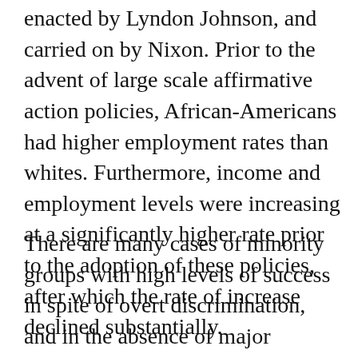enacted by Lyndon Johnson, and carried on by Nixon. Prior to the advent of large scale affirmative action policies, African-Americans had higher employment rates than whites. Furthermore, income and employment levels were increasing at a significantly higher rate prior to the adoption of these policies, after which the rate of increase declined substantially.
There are many cases of minority groups with high levels of success in spite of overt discrimination, and in the absence of major ‘positive’ discrimination policies. The